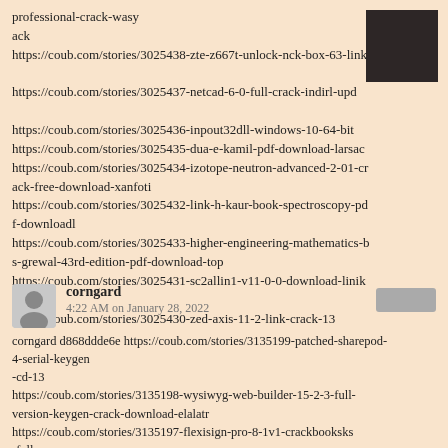professional-crack-wasy
ack
https://coub.com/stories/3025438-zte-z667t-unlock-nck-box-63-link

https://coub.com/stories/3025437-netcad-6-0-full-crack-indirl-upd

https://coub.com/stories/3025436-inpout32dll-windows-10-64-bit
https://coub.com/stories/3025435-dua-e-kamil-pdf-download-larsac
https://coub.com/stories/3025434-izotope-neutron-advanced-2-01-crack-free-download-xanfoti
https://coub.com/stories/3025432-link-h-kaur-book-spectroscopy-pdf-downloadl
https://coub.com/stories/3025433-higher-engineering-mathematics-bs-grewal-43rd-edition-pdf-download-top
https://coub.com/stories/3025431-sc2allin1-v11-0-0-download-linikee
https://coub.com/stories/3025430-zed-axis-11-2-link-crack-13
[Figure (other): Dark square image (redacted/blurred content)]
corngard
4:22 AM on January 28, 2022
corngard d868ddde6e https://coub.com/stories/3135199-patched-sharepod-4-serial-keygen
-cd-13
https://coub.com/stories/3135198-wysiwyg-web-builder-15-2-3-full-version-keygen-crack-download-elalatr
https://coub.com/stories/3135197-flexisign-pro-8-1v1-crackbooksks
-full